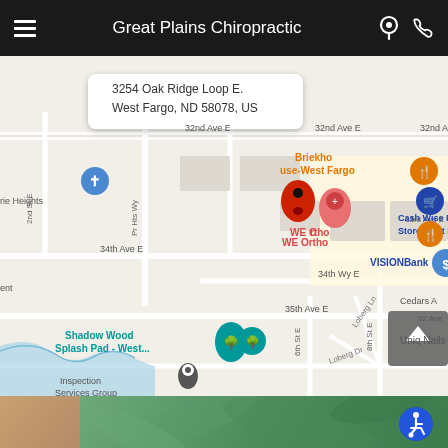Great Plains Chiropractic
[Figure (map): Google Maps screenshot showing location at 3254 Oak Ridge Loop E., West Fargo, ND 58078, US. Map shows surrounding streets including 32nd Ave E, 33rd Ave E, 34th Ave E, 34th Wy E, 35th Ave E. Points of interest visible: Brickhouse-West Fargo, WE Ortho, Cash Wise Food Store West Fargo, VISIONBank, Shadow Wood Splash Pad - West..., Inspection Services Group, Scooter's Coffee, Uniq Nails. A red pin marks the chiropractic location.]
[Figure (photo): Partial photo at bottom showing blurred green foliage and a partial view of a person, with a blue accessibility/wheelchair icon in the bottom right corner.]